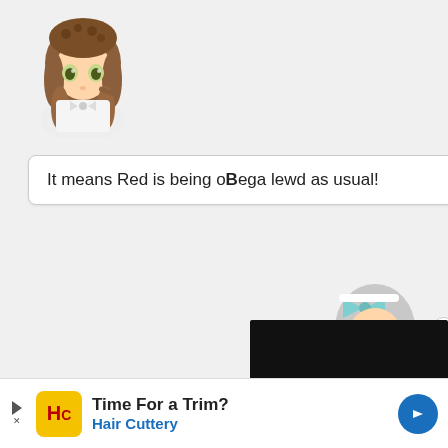[Figure (illustration): Chibi anime character with brown hair and green eyes, wearing white outfit, top-left corner]
It means Red is being oBega lewd as usual!
[Figure (illustration): Chibi anime character with gray hair and blue bow, maid outfit, right side]
[Figure (screenshot): Dark/black video panel with GamePress logo text]
expect no less from the ma
love for Lee's ass in Theate
[Figure (other): Menu button with hamburger icon and 'Menu' label on gray background]
[Figure (other): Top button with up arrow on dark background]
[Figure (other): Advertisement banner: Time For a Trim? Hair Cuttery]